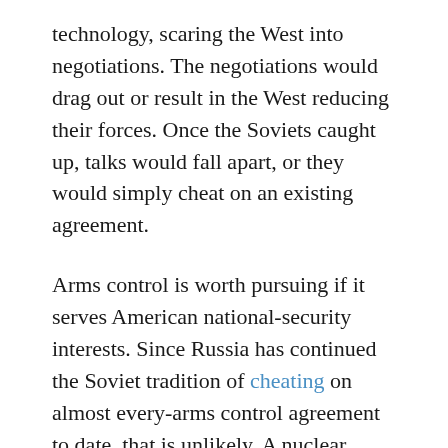technology, scaring the West into negotiations. The negotiations would drag out or result in the West reducing their forces. Once the Soviets caught up, talks would fall apart, or they would simply cheat on an existing agreement.
Arms control is worth pursuing if it serves American national-security interests. Since Russia has continued the Soviet tradition of cheating on almost every-arms control agreement to date, that is unlikely. A nuclear freeze is not a diplomatic victory, it could be the death knell of the U.S. nuclear triad.
Morgan Wirthlin is the Chief of Staff at the